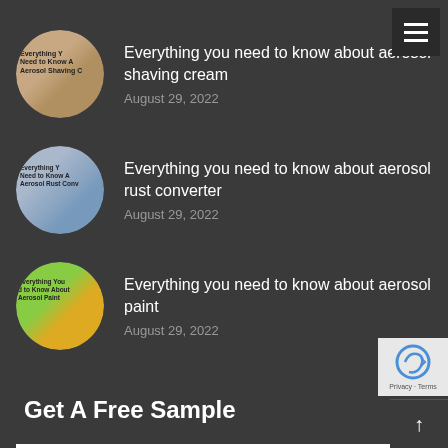Everything you need to know about aerosol shaving cream
August 29, 2022
Everything you need to know about aerosol rust converter
August 29, 2022
Everything you need to know about aerosol paint
August 29, 2022
Get A Free Sample
Name *
Email: *